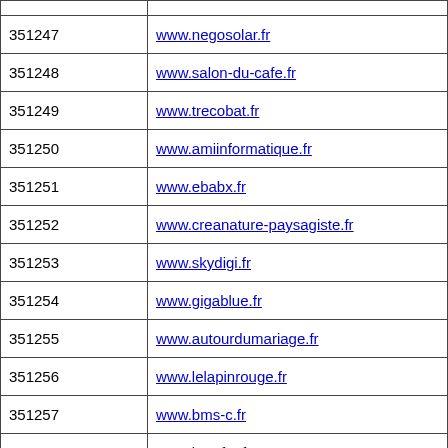| ID | URL |
| --- | --- |
| 351247 | www.negosolar.fr |
| 351248 | www.salon-du-cafe.fr |
| 351249 | www.trecobat.fr |
| 351250 | www.amiinformatique.fr |
| 351251 | www.ebabx.fr |
| 351252 | www.creanature-paysagiste.fr |
| 351253 | www.skydigi.fr |
| 351254 | www.gigablue.fr |
| 351255 | www.autourdumariage.fr |
| 351256 | www.lelapinrouge.fr |
| 351257 | www.bms-c.fr |
| 351258 | www.betafer.fr |
| 351259 | www.monbleudechine.fr |
| 351260 | www.traction-blanche.fr |
| 351261 | www.po-st.fr |